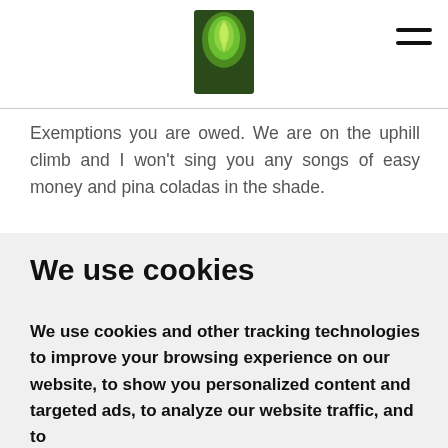[Figure (logo): Green leaf logo image in center of header]
Exemptions you are owed.  We are on the uphill climb and I won't sing you any songs of easy money and pina coladas in the shade.
What we will guarantee you is that you are owed the offset and/or discharge of all Public Debts addressed to YOUR NAME and the return of your assets free and clear of debt or encumbrance. Together, through our
We use cookies
We use cookies and other tracking technologies to improve your browsing experience on our website, to show you personalized content and targeted ads, to analyze our website traffic, and to